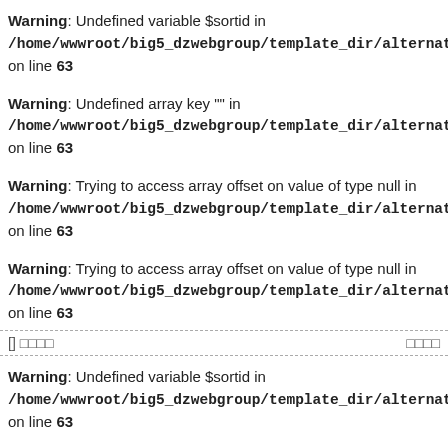Warning: Undefined variable $sortid in /home/wwwroot/big5_dzwebgroup/template_dir/alternate_jianti_qia on line 63
Warning: Undefined array key "" in /home/wwwroot/big5_dzwebgroup/template_dir/alternate_jianti_qia on line 63
Warning: Trying to access array offset on value of type null in /home/wwwroot/big5_dzwebgroup/template_dir/alternate_jianti_qia on line 63
Warning: Trying to access array offset on value of type null in /home/wwwroot/big5_dzwebgroup/template_dir/alternate_jianti_qia on line 63
[] □□□□    □□□□
Warning: Undefined variable $sortid in /home/wwwroot/big5_dzwebgroup/template_dir/alternate_jianti_qia on line 63
Warning: Undefined array key "" in /home/wwwroot/big5_dzwebgroup/template_dir/alternate_jianti_qia on line 63
Warning: Trying to access array offset on value of type null in /home/wwwroot/big5_dzwebgroup/template_dir/alternate_jianti_qia on line 63